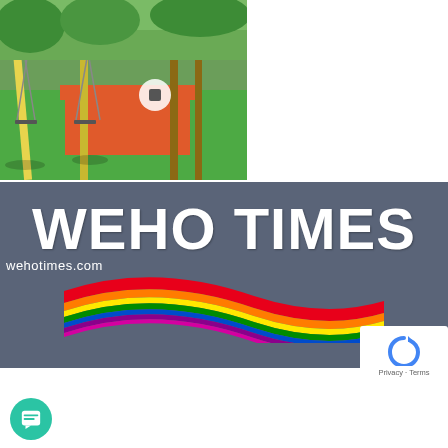[Figure (photo): Colorful playground with green and red rubber flooring, swing sets, and trees in background]
[Figure (logo): Weho Times logo with white bold text 'WEHO TIMES', wehotimes.com subtitle, and rainbow wave stripe graphic on dark blue-gray background]
ABOUT US
[Figure (other): reCAPTCHA privacy badge with blue arrow icon and Privacy - Terms text]
eHo Times West Hollywood Daily News, Nightlife and Events. The WeHo Times is an online news source in the life and time of the City of W...